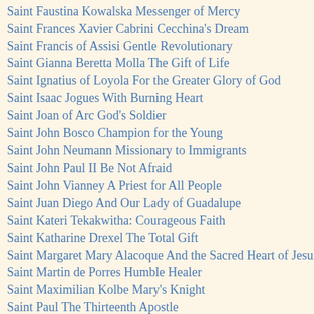Saint Faustina Kowalska Messenger of Mercy
Saint Frances Xavier Cabrini Cecchina's Dream
Saint Francis of Assisi Gentle Revolutionary
Saint Gianna Beretta Molla The Gift of Life
Saint Ignatius of Loyola For the Greater Glory of God
Saint Isaac Jogues With Burning Heart
Saint Joan of Arc God's Soldier
Saint John Bosco Champion for the Young
Saint John Neumann Missionary to Immigrants
Saint John Paul II Be Not Afraid
Saint John Vianney A Priest for All People
Saint Juan Diego And Our Lady of Guadalupe
Saint Kateri Tekakwitha: Courageous Faith
Saint Katharine Drexel The Total Gift
Saint Margaret Mary Alacoque And the Sacred Heart of Jesus
Saint Martin de Porres Humble Healer
Saint Maximilian Kolbe Mary's Knight
Saint Paul The Thirteenth Apostle
Saint Pio of Pietrelcina Rich in Love
Saint Teresa of Avila Joyful in the Lord
Saint Teresa of Calcutta Missionary of Charity
Saint Teresa of Kalkota Missionary of Charity